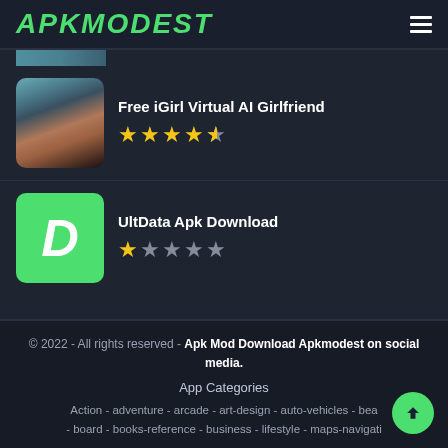APKMODEST
[Figure (photo): Partial cropped image of a person at the top]
Free iGirl Virtual AI Girlfriend
★★★★½ (4.5 stars)
[Figure (photo): Photo of a woman with choker necklace]
UltData Apk Download
★☆☆☆☆ (1.5 stars)
[Figure (logo): Green square icon with white D letter for UltData]
© 2022 - All rights reserved - Apk Mod Download Apkmodest on social media.
App Categories
Action - adventure - arcade - art-design - auto-vehicles - bea... - board - books-reference - business - lifestyle - maps-navigati...